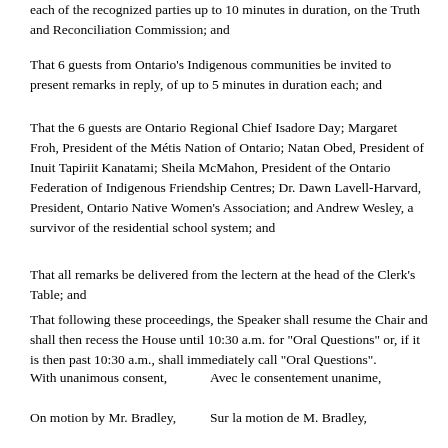each of the recognized parties up to 10 minutes in duration, on the Truth and Reconciliation Commission; and
That 6 guests from Ontario's Indigenous communities be invited to present remarks in reply, of up to 5 minutes in duration each; and
That the 6 guests are Ontario Regional Chief Isadore Day; Margaret Froh, President of the Métis Nation of Ontario; Natan Obed, President of Inuit Tapiriit Kanatami; Sheila McMahon, President of the Ontario Federation of Indigenous Friendship Centres; Dr. Dawn Lavell-Harvard, President, Ontario Native Women's Association; and Andrew Wesley, a survivor of the residential school system; and
That all remarks be delivered from the lectern at the head of the Clerk's Table; and
That following these proceedings, the Speaker shall resume the Chair and shall then recess the House until 10:30 a.m. for "Oral Questions" or, if it is then past 10:30 a.m., shall immediately call "Oral Questions".
With unanimous consent,
Avec le consentement unanime,
On motion by Mr. Bradley,
Sur la motion de M. Bradley,
Ordered, That the Standing Committee on Public Accounts be